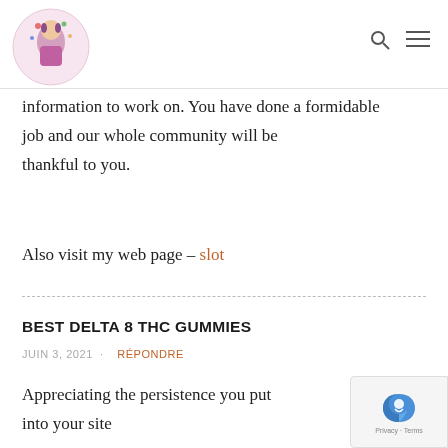[Logo image] [Search icon] [Menu icon]
information to work on. You have done a formidable
job and our whole community will be thankful to you.
Also visit my web page – slot
BEST DELTA 8 THC GUMMIES
JUIN 3, 2021 · RÉPONDRE
Appreciating the persistence you put into your site